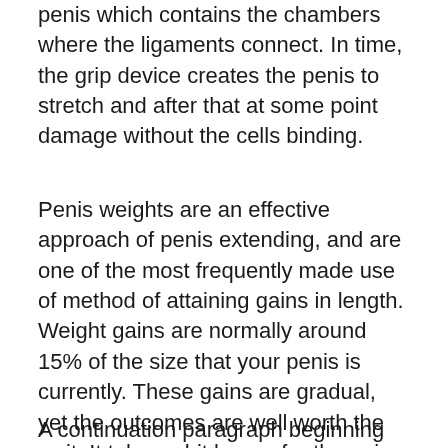penis which contains the chambers where the ligaments connect. In time, the grip device creates the penis to stretch and after that at some point damage without the cells binding.
Penis weights are an effective approach of penis extending, and are one of the most frequently made use of method of attaining gains in length. Weight gains are normally around 15% of the size that your penis is currently. These gains are gradual, yet the outcomes are well worth the wait. It takes a bit longer for the gains to become recognizable. As long as you make use of the weights correctly, you will see gradual gains in dimension over time.
A continuation paragraph beginning cut off at bottom.